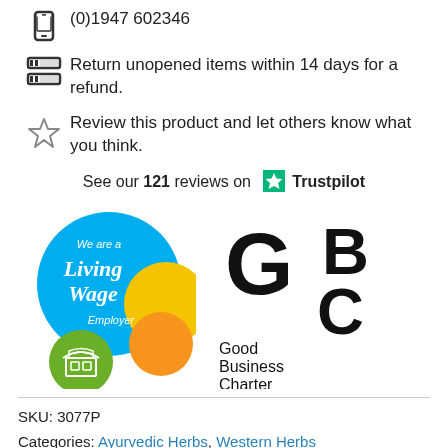(0)1947 602346
Return unopened items within 14 days for a refund.
Review this product and let others know what you think.
See our 121 reviews on Trustpilot
[Figure (logo): Living Wage Employer badge with blue circle, yellow and orange circles, and green circle with shop icon]
[Figure (logo): Good Business Charter logo with large GBC letters and text 'Good Business Charter']
SKU: 3077P
Categories: Ayurvedic Herbs, Western Herbs
Tag: cut herb